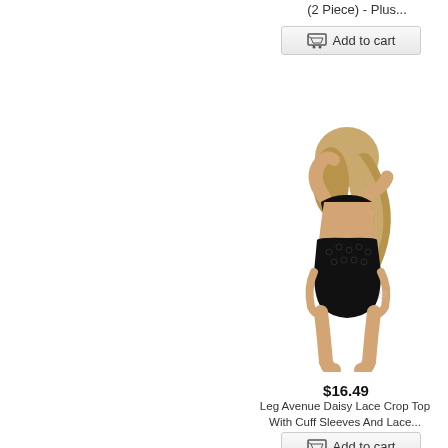(2 Piece) - Plus...
[Figure (screenshot): Add to cart button at top of page]
[Figure (photo): Woman wearing black lace crop top and lace underwear, shown from behind with hands raised above head, blonde hair]
$16.49
Leg Avenue Daisy Lace Crop Top With Cuff Sleeves And Lace...
[Figure (screenshot): Add to cart button below product title]
[Figure (photo): Partial view of another product at bottom of page]